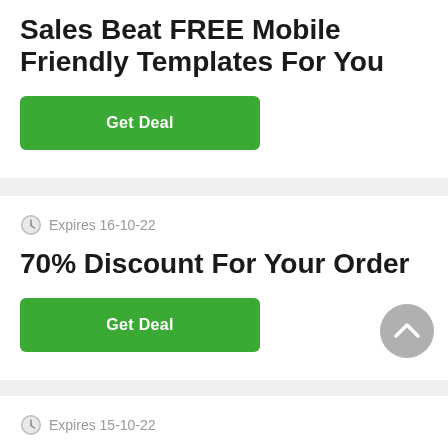Sales Beat FREE Mobile Friendly Templates For You
Get Deal
Expires 16-10-22
70% Discount For Your Order
Get Deal
Expires 15-10-22